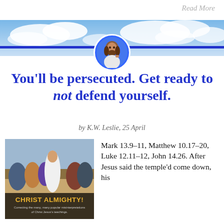Read More
[Figure (illustration): Website header banner with blue sky and clouds, a blue horizontal line, and a circular icon of Jesus Christ in the center]
You'll be persecuted. Get ready to not defend yourself.
by K.W. Leslie, 25 April
[Figure (illustration): Book cover image titled 'CHRIST ALMIGHTY! Correcting the many, many popular misinterpretations of Christ Jesus's teachings.' showing Jesus preaching to a crowd]
Mark 13.9–11, Matthew 10.17–20, Luke 12.11–12, John 14.26. After Jesus said the temple'd come down, his